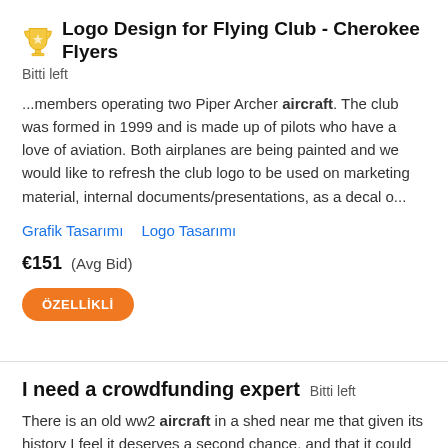Logo Design for Flying Club - Cherokee Flyers
Bitti left
...members operating two Piper Archer aircraft. The club was formed in 1999 and is made up of pilots who have a love of aviation. Both airplanes are being painted and we would like to refresh the club logo to be used on marketing material, internal documents/presentations, as a decal o...
Grafik Tasarımı
Logo Tasarımı
€151  (Avg Bid)
ÖZELLİKLİ
I need a crowdfunding expert  Bitti left
There is an old ww2 aircraft in a shed near me that given its history I feel it deserves a second chance, and that it could also be used to introduce new pilots to tail dragger and give a low cost opportunity for people to experience